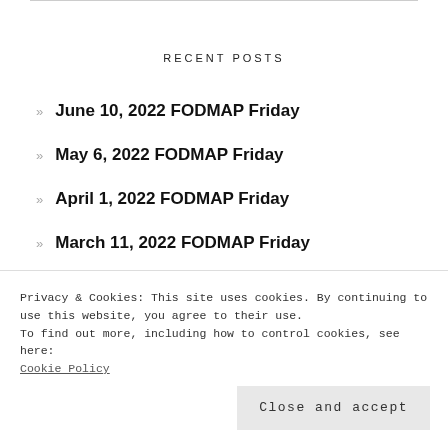RECENT POSTS
June 10, 2022 FODMAP Friday
May 6, 2022 FODMAP Friday
April 1, 2022 FODMAP Friday
March 11, 2022 FODMAP Friday
May 28, 2021 FODMAP Friday
Privacy & Cookies: This site uses cookies. By continuing to use this website, you agree to their use.
To find out more, including how to control cookies, see here:
Cookie Policy
Close and accept